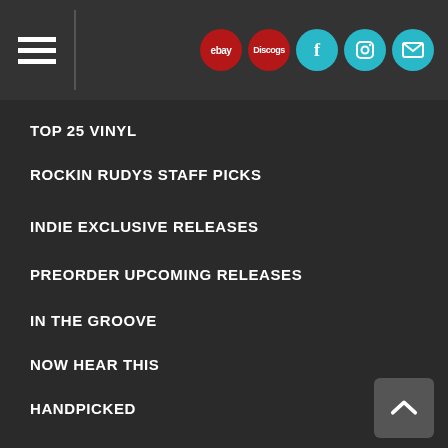Navigation bar with hamburger menu and social icons (ebay, Discogs, Facebook, Instagram, Email)
TOP 25 VINYL
ROCKIN RUDYS STAFF PICKS
INDIE EXCLUSIVE RELEASES
PREORDER UPCOMING RELEASES
IN THE GROOVE
NOW HEAR THIS
HANDPICKED
HEADBANGER'S WALL
HOMEGROWN
PLAYART - BRING ALBUMS TO LIFE